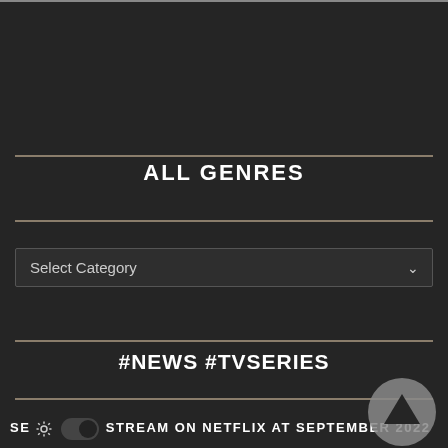ALL GENRES
Select Category
#NEWS #TVSERIES
SE STREAM ON NETFLIX AT SEPTEMBER 2022